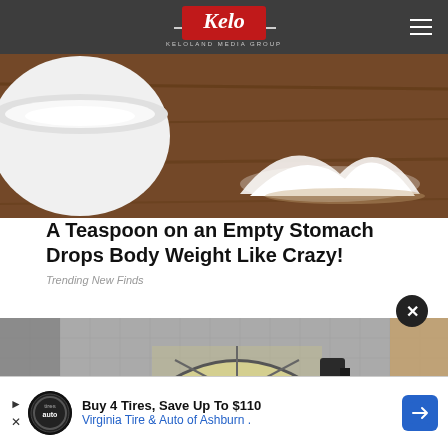KELOLAND MEDIA GROUP
[Figure (photo): Close-up photo of a white bowl with white powder (sugar or salt) and a pile of powder on a wooden surface]
A Teaspoon on an Empty Stomach Drops Body Weight Like Crazy!
Trending New Finds
[Figure (photo): Interior room photo showing a semi-circular window with yellow glass panes divided by metal bars, with tiled wall behind]
Buy 4 Tires, Save Up To $110 Virginia Tire & Auto of Ashburn .